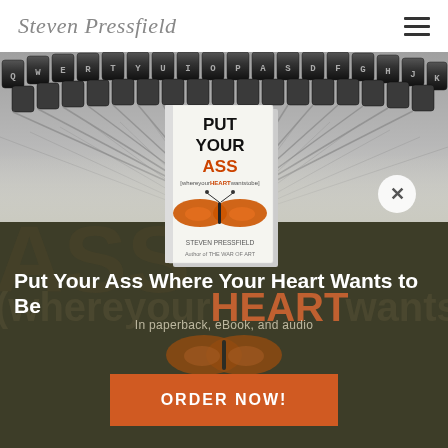Steven Pressfield
[Figure (photo): Close-up photograph of vintage typewriter keys/typebars in a row, black and white metallic, blurred motion effect at bottom]
[Figure (photo): Book cover for 'Put Your Ass Where Your Heart Wants to Be' by Steven Pressfield, showing bold black text and an orange butterfly on white background]
Put Your Ass Where Your Heart Wants to Be
In paperback, eBook, and audio
ORDER NOW!